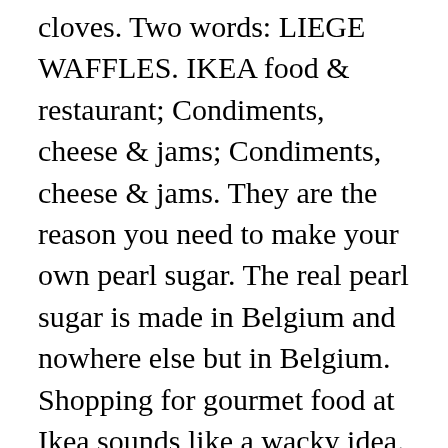cloves. Two words: LIEGE WAFFLES. IKEA food & restaurant; Condiments, cheese & jams; Condiments, cheese & jams. They are the reason you need to make your own pearl sugar. The real pearl sugar is made in Belgium and nowhere else but in Belgium. Shopping for gourmet food at Ikea sounds like a wacky idea. Pearl sugar is used as a topping on Swedish cardamom coffee bread. Please try your search again later. At Ikea, the Swedish furniture store, they have a food section by the checkout, where you can find pearl sugar and other foods and candy. Made in Sweden. I haven't tried sugar cubes as a substitute, but I highly recommend getting